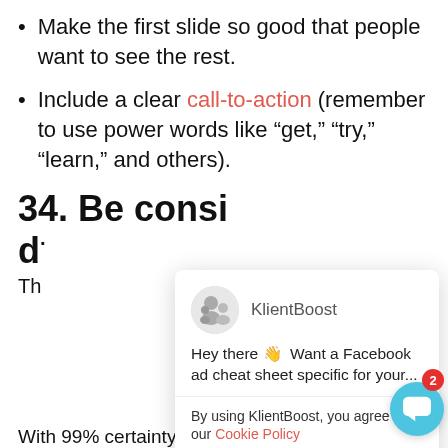Make the first slide so good that people want to see the rest.
Include a clear call-to-action (remember to use power words like “get,” “try,” “learn,” and others).
34. Be consi d·
Th
With 99% certainty, you know what their logo and
[Figure (screenshot): KlientBoost chat popup with avatar, message 'Hey there 👋 Want a Facebook ad cheat sheet specific for your...', cookie policy bar 'By using KlientBoost, you agree to our Cookie Policy', Accept button, and chat bubble with badge showing 2.]